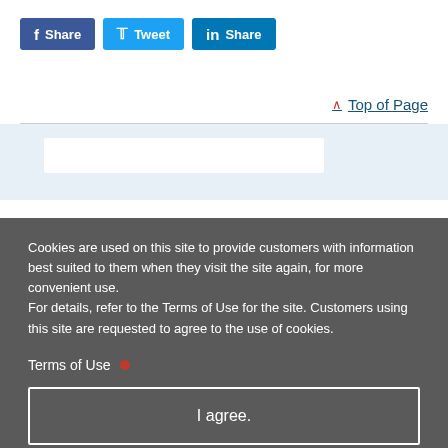[Figure (other): Social sharing buttons: Facebook Share, Twitter Tweet, LinkedIn Share]
Top of Page
Cookies are used on this site to provide customers with information best suited to them when they visit the site again, for more convenient use. For details, refer to the Terms of Use for the site. Customers using this site are requested to agree to the use of cookies.
Terms of Use
I agree.